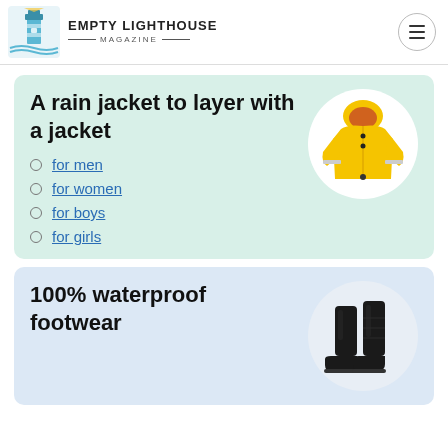EMPTY LIGHTHOUSE MAGAZINE
A rain jacket to layer with a jacket
for men
for women
for boys
for girls
[Figure (photo): Yellow children's rain jacket with hood and reflective strips]
100% waterproof footwear
[Figure (photo): Black tall rubber rain boots]